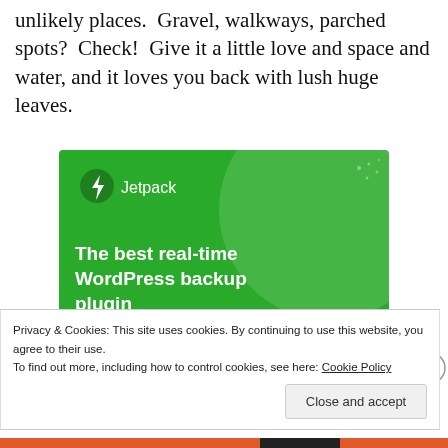unlikely places.  Gravel, walkways, parched spots?  Check!  Give it a little love and space and water, and it loves you back with lush huge leaves.
[Figure (screenshot): Jetpack advertisement banner: green background with Jetpack logo and lightning bolt icon, large light green circle decoration, text reading 'The best real-time WordPress backup plugin', and a white button 'Back up your site']
Privacy & Cookies: This site uses cookies. By continuing to use this website, you agree to their use.
To find out more, including how to control cookies, see here: Cookie Policy
Close and accept